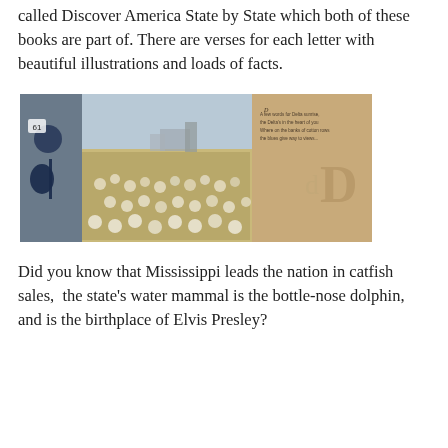called Discover America State by State which both of these books are part of. There are verses for each letter with beautiful illustrations and loads of facts.
[Figure (illustration): A spread from a children's book showing a cotton field with illustrated characters including a guitar player figure on the left, a real photograph of a large cotton field in the center, and a tan/beige text panel on the right side with the letter 'd' and 'D' decoratively displayed.]
Did you know that Mississippi leads the nation in catfish sales,  the state's water mammal is the bottle-nose dolphin, and is the birthplace of Elvis Presley?